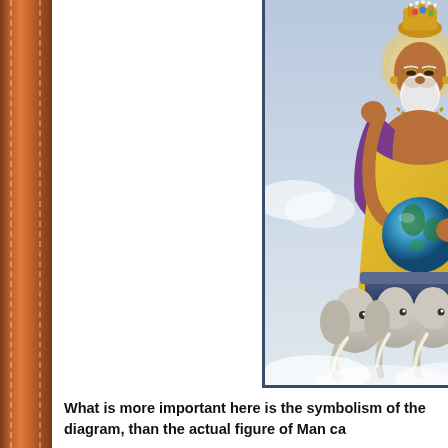[Figure (illustration): Painting of a Hindu deity (likely Vishwakarma or Brahma), seated cross-legged on a throne supported by multiple white elephant heads. The figure has a white beard, wears a golden crown and yellow robes with purple shawl, holds a writing instrument in one raised hand and cradles a blue globe (Earth) in the other. The background shows a soft blue sky.]
What is more important here is the symbolism of the diagram, than the actual figure of Man ca...